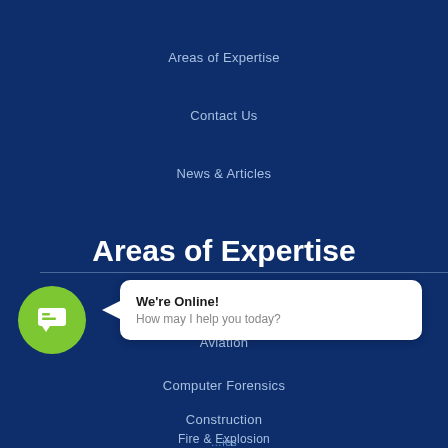Areas of Expertise
Contact Us
News & Articles
Areas of Expertise
Accounting Forensics
Aviation
Computer Forensics
Construction
Fire & Explosion
We're Online! How may I help you today?